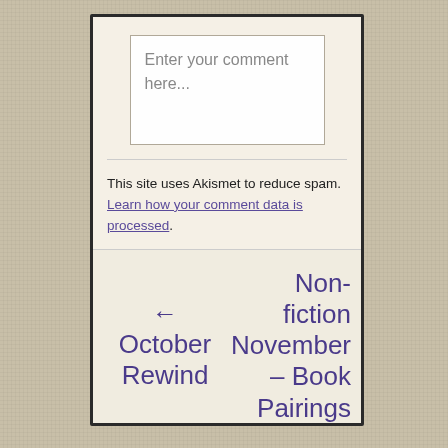Enter your comment here...
This site uses Akismet to reduce spam. Learn how your comment data is processed.
← October Rewind
Non-fiction November – Book Pairings →